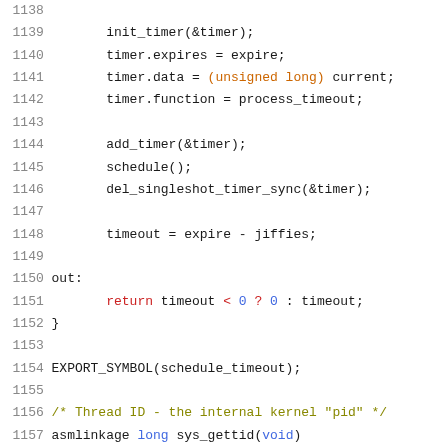[Figure (screenshot): Source code listing showing lines 1138-1158 of a C kernel source file with syntax highlighting. Lines include timer initialization, add_timer, schedule, del_singleshot_timer_sync, timeout calculation, EXPORT_SYMBOL, and sys_gettid function declarations.]